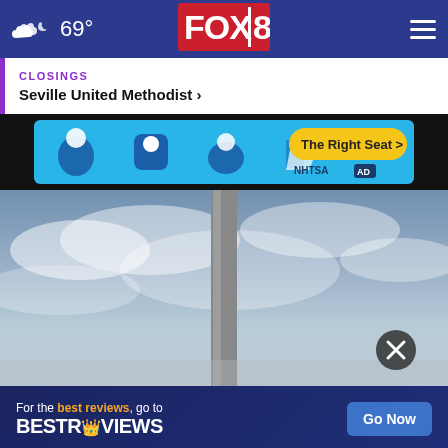69° FOX 8
CLOSINGS
Seville United Methodist ›
[Figure (infographic): NHTSA car seat safety advertisement with text 'The Right Seat >' and car seat icons on a blue background]
[Figure (photo): Outdoor photo with overcast sky and a vertical pole or tower in center, with a circular close button overlay]
[Figure (infographic): BestReviews advertisement: 'For the best reviews, go to BESTREVIEWS' with a 'Go Now' button on dark blue background]